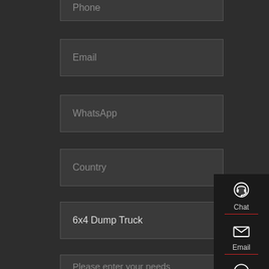Phone
Email
WhatsApp
Country
6x4 Dump Truck
Please enter your needs
[Figure (infographic): Sidebar with Chat, Email, Contact, and Top navigation icons on dark background]
Chat
Email
Contact
Top